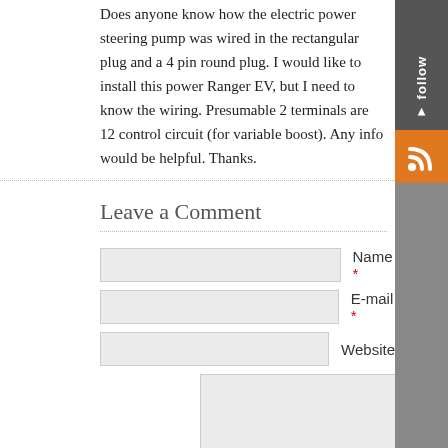Does anyone know how the electric power steering pump was wired in the rectangular plug and a 4 pin round plug. I would like to install this power Ranger EV, but I need to know the wiring. Presumable 2 terminals are 12 control circuit (for variable boost). Any info would be helpful. Thanks.
Leave a Comment
Name *
E-mail *
Website